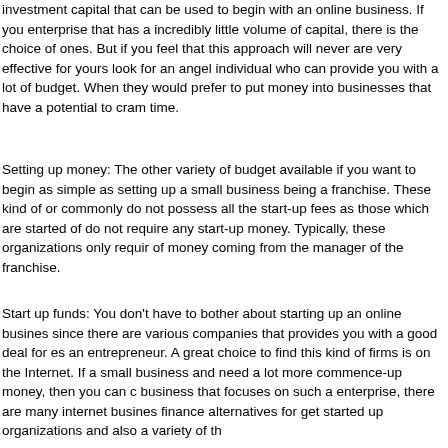investment capital that can be used to begin with an online business. If you enterprise that has a incredibly little volume of capital, there is the choice of ones. But if you feel that this approach will never are very effective for yours look for an angel individual who can provide you with a lot of budget. When they would prefer to put money into businesses that have a potential to cram time.
Setting up money: The other variety of budget available if you want to begin as simple as setting up a small business being a franchise. These kind of or commonly do not possess all the start-up fees as those which are started of do not require any start-up money. Typically, these organizations only requir of money coming from the manager of the franchise.
Start up funds: You don't have to bother about starting up an online busines since there are various companies that provides you with a good deal for es an entrepreneur. A great choice to find this kind of firms is on the Internet. If a small business and need a lot more commence-up money, then you can c business that focuses on such a enterprise, there are many internet busines finance alternatives for get started up organizations and also a variety of th